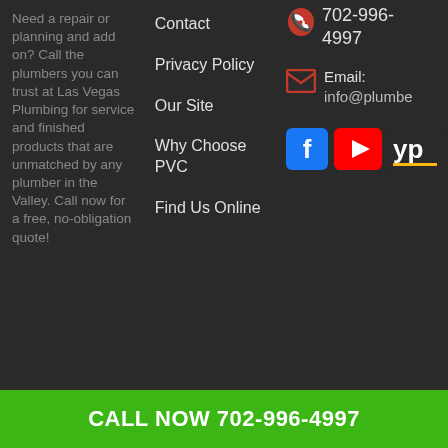Need a repair or planning and add on? Call the plumbers you can trust at Las Vegas Plumbing for service and finished products that are unmatched by any plumber in the Valley. Call now for a free, no-obligation quote!
Contact
Privacy Policy
Our Site
Why Choose PVC
Find Us Online
702-996-4997
Email: info@plumbe...
CALL NOW 702-996-4997